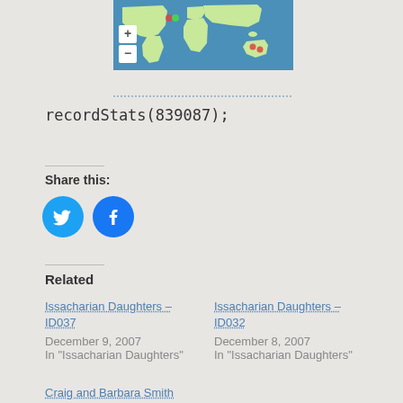[Figure (map): World map with colored marker dots near North America and Australia/Southeast Asia region; zoom +/- controls visible on left side]
recordStats(839087);
Share this:
[Figure (infographic): Twitter and Facebook share buttons as blue circles with white icons]
Related
Issacharian Daughters – ID037
December 9, 2007
In "Issacharian Daughters"
Issacharian Daughters – ID032
December 8, 2007
In "Issacharian Daughters"
Craig and Barbara Smith